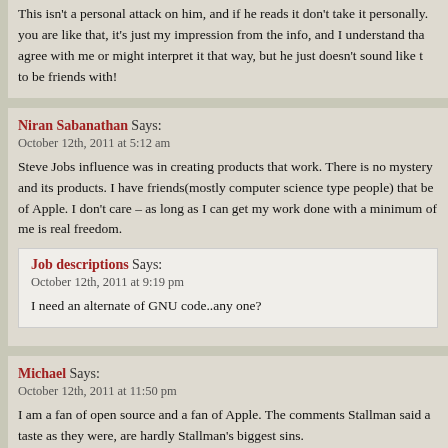This isn't a personal attack on him, and if he reads it don't take it personally. you are like that, it's just my impression from the info, and I understand tha agree with me or might interpret it that way, but he just doesn't sound like t to be friends with!
Niran Sabanathan Says:
October 12th, 2011 at 5:12 am
Steve Jobs influence was in creating products that work. There is no mystery and its products. I have friends(mostly computer science type people) that be of Apple. I don't care – as long as I can get my work done with a minimum of me is real freedom.
Job descriptions Says:
October 12th, 2011 at 9:19 pm
I need an alternate of GNU code..any one?
Michael Says:
October 12th, 2011 at 11:50 pm
I am a fan of open source and a fan of Apple. The comments Stallman said a taste as they were, are hardly Stallman's biggest sins.